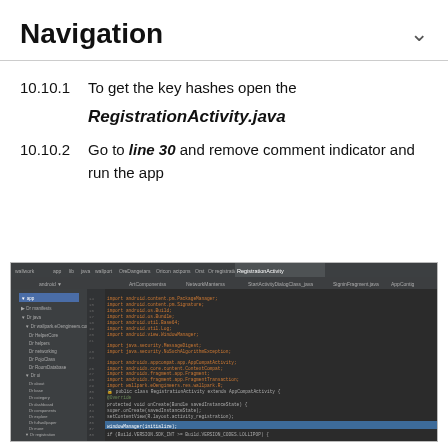Navigation
10.10.1  To get the key hashes open the RegistrationActivity.java
10.10.2  Go to line 30 and remove comment indicator and run the app
[Figure (screenshot): Android Studio IDE showing RegistrationActivity.java open with Java import statements and class definition visible, with a file tree on the left showing project structure including app, java, registration folders.]